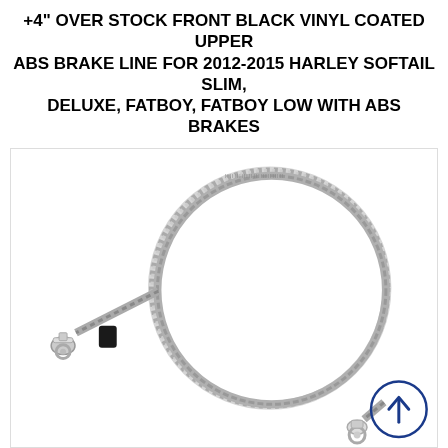+4" OVER STOCK FRONT BLACK VINYL COATED UPPER ABS BRAKE LINE FOR 2012-2015 HARLEY SOFTAIL SLIM, DELUXE, FATBOY, FATBOY LOW WITH ABS BRAKES
$101.95  $113.95
[Figure (photo): Product photo of a braided stainless steel ABS brake line with black vinyl coating and chrome fittings at each end, arranged in a circular loop on white background. A blue circle with an upward arrow icon is visible in the lower right.]